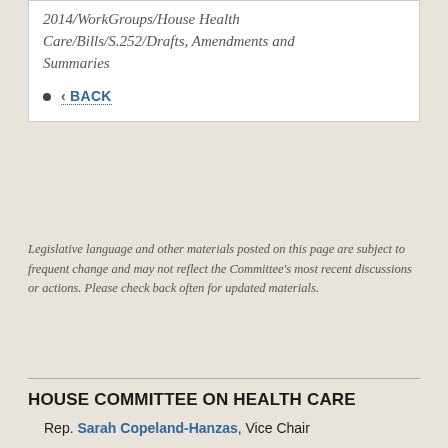2014/WorkGroups/House Health Care/Bills/S.252/Drafts, Amendments and Summaries
< BACK
Legislative language and other materials posted on this page are subject to frequent change and may not reflect the Committee's most recent discussions or actions. Please check back often for updated materials.
HOUSE COMMITTEE ON HEALTH CARE
Rep. Sarah Copeland-Hanzas, Vice Chair
Rep. Paul N. Poirier, Ranking Member
Rep. Leigh Dakin, Clerk
Rep. Doug Gage